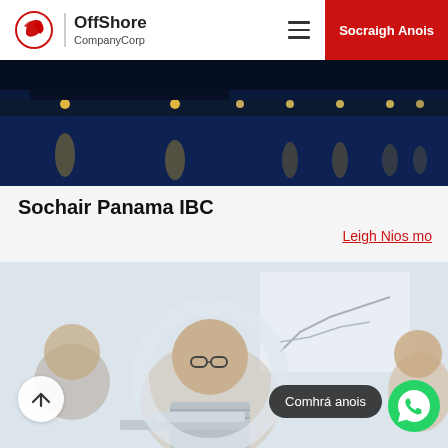OffShore CompanyCorp — Socraigh Anois
[Figure (photo): Nighttime city bridge with blue water reflections and yellow lights]
Sochair Panama IBC
Leigh Nios mo
[Figure (photo): Group of office workers collaborating around a laptop, man with glasses smiling, whiteboard with chart in background]
Comhrá anois